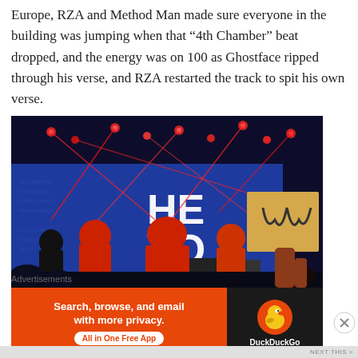Europe, RZA and Method Man made sure everyone in the building was jumping when that “4th Chamber” beat dropped, and the energy was on 100 as Ghostface ripped through his verse, and RZA restarted the track to spit his own verse.
[Figure (photo): Concert photo showing Wu-Tang Clan performing on stage with blue LED backdrop displaying 'HEXO' branding, red laser lights, performers in red outfits, and a fan holding a sign with the Wu-Tang Clan logo drawn on cardboard.]
Advertisements
[Figure (screenshot): DuckDuckGo advertisement banner: orange left panel reading 'Search, browse, and email with more privacy. All in One Free App' and dark right panel showing DuckDuckGo duck logo and brand name.]